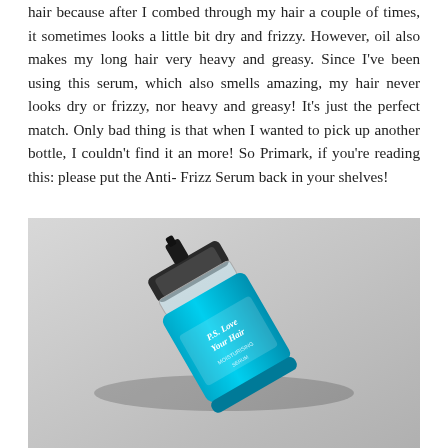hair because after I combed through my hair a couple of times, it sometimes looks a little bit dry and frizzy. However, oil also makes my long hair very heavy and greasy. Since I've been using this serum, which also smells amazing, my hair never looks dry or frizzy, nor heavy and greasy! It's just the perfect match. Only bad thing is that when I wanted to pick up another bottle, I couldn't find it an more! So Primark, if you're reading this: please put the Anti- Frizz Serum back in your shelves!
[Figure (photo): A blue hair serum bottle labeled 'P.S. Love Your Hair' lying diagonally on a light gray surface, with a clear plastic cap.]